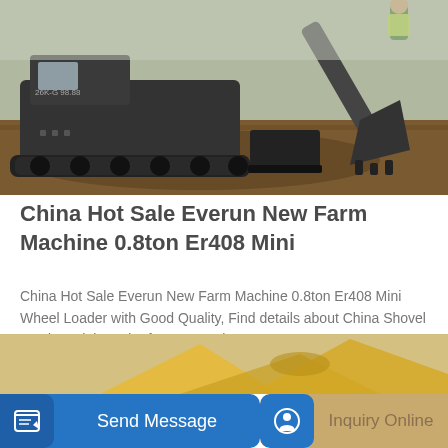[Figure (photo): Mini excavator / wheel loader working on dirt ground, black machine with yellow bucket/arm digging into soil, person in high-vis vest visible at top right]
China Hot Sale Everun New Farm Machine 0.8ton Er408 Mini
China Hot Sale Everun New Farm Machine 0.8ton Er408 Mini Wheel Loader with Good Quality, Find details about China Shovel Loader, Mini Loader from Hot Sale Everun...
Learn More
[Figure (photo): Partial view of yellow construction equipment arm/bucket at bottom of page]
Send Message
Inquiry Online